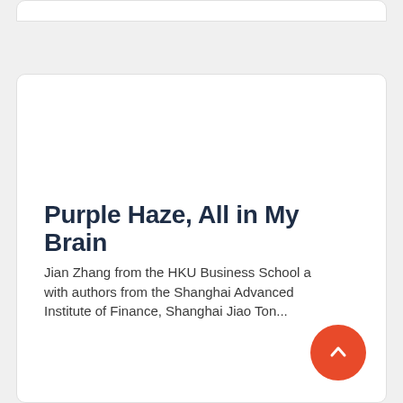Purple Haze, All in My Brain
Jian Zhang from the HKU Business School and with authors from the Shanghai Advanced Institute of Finance, Shanghai Jiao Tong...